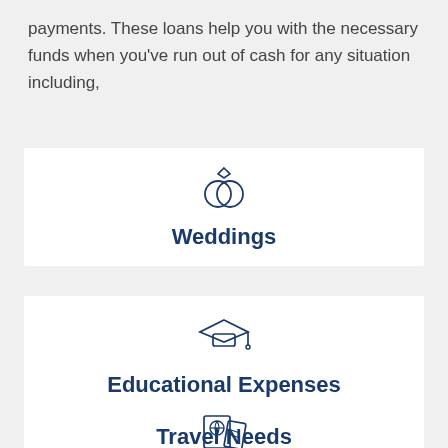payments. These loans help you with the necessary funds when you've run out of cash for any situation including,
[Figure (illustration): Two interlocked rings (wedding rings) icon in dark blue outline style]
Weddings
[Figure (illustration): Graduation cap icon in dark blue outline style]
Educational Expenses
[Figure (illustration): Passport and ticket icon in dark blue outline style]
Travel Needs